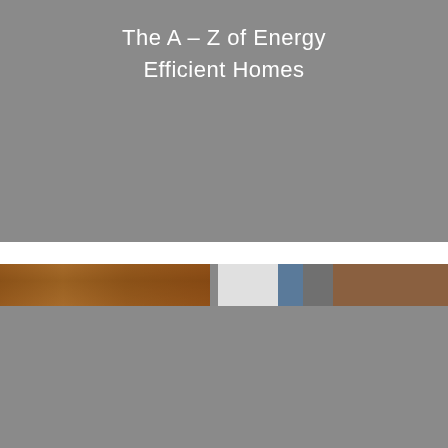The A – Z of Energy Efficient Homes
[Figure (photo): Construction photo showing wooden framing/insulation materials in a building under construction, with gray background panels above and below]